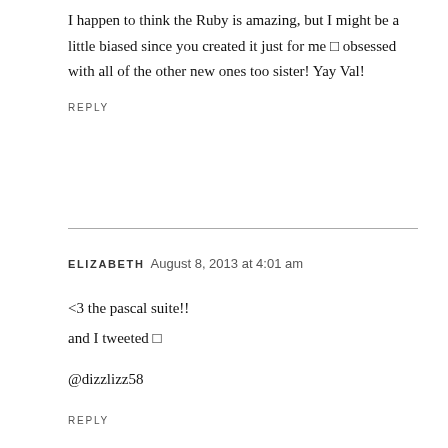I happen to think the Ruby is amazing, but I might be a little biased since you created it just for me 🙂 obsessed with all of the other new ones too sister! Yay Val!
REPLY
ELIZABETH  August 8, 2013 at 4:01 am
<3 the pascal suite!!
and I tweeted 🙂

@dizzlizz58
REPLY